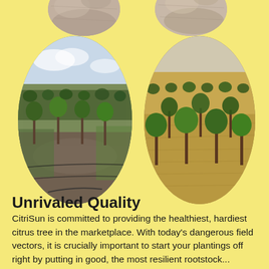[Figure (photo): Top-left oval showing close-up of soil or sandy ground texture]
[Figure (photo): Top-right oval showing close-up of soil or ground texture]
[Figure (photo): Middle-left large oval showing a citrus orchard with young trees in rows, green grass ground cover, drip irrigation lines visible]
[Figure (photo): Middle-right large oval showing a citrus orchard with young trees in rows on dry straw-mulched ground]
Unrivaled Quality
CitriSun is committed to providing the healthiest, hardiest citrus tree in the marketplace. With today's dangerous field vectors, it is crucially important to start your plantings off right by putting in good, the most resilient rootstock...